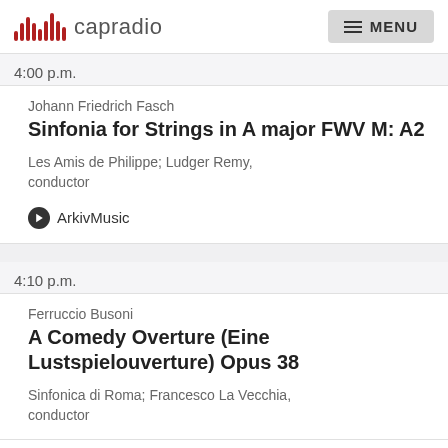capradio  MENU
4:00 p.m.
Johann Friedrich Fasch
Sinfonia for Strings in A major FWV M: A2
Les Amis de Philippe; Ludger Remy, conductor
ArkivMusic
4:10 p.m.
Ferruccio Busoni
A Comedy Overture (Eine Lustspielouverture) Opus 38
Sinfonica di Roma; Francesco La Vecchia, conductor